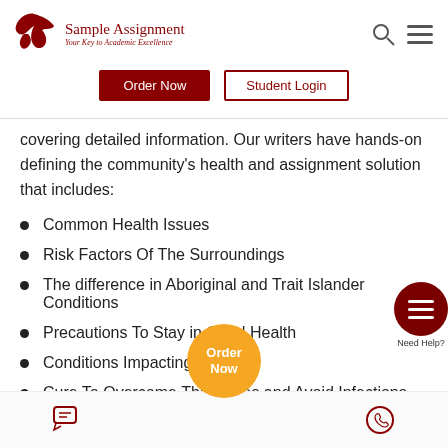Sample Assignment — Your Key to Academic Excellence
covering detailed information. Our writers have hands-on defining the community's health and assignment solution that includes:
Common Health Issues
Risk Factors Of The Surroundings
The difference in Aboriginal and Trait Islander Conditions
Precautions To Stay in Good Health
Conditions Impacting Health
Cure To Overcome The Issues and Avoid Infections
Need For Safe Nursing…
Order Now | Chat | WhatsApp